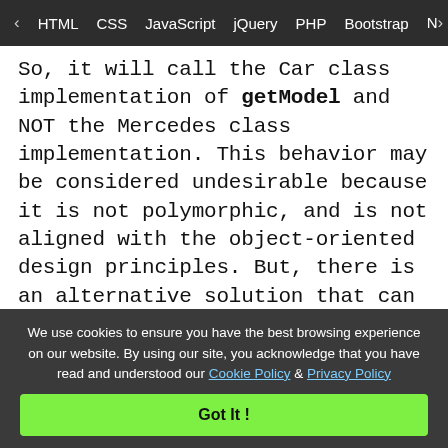< HTML  CSS  JavaScript  jQuery  PHP  Bootstrap  N>
So, it will call the Car class implementation of getModel and NOT the Mercedes class implementation. This behavior may be considered undesirable because it is not polymorphic, and is not aligned with the object-oriented design principles. But, there is an alternative solution that can get us that kind of behavior– and this is where the static keyword becomes useful.
Now static: The static is a keyword in PHP. Static is
We use cookies to ensure you have the best browsing experience on our website. By using our site, you acknowledge that you have read and understood our Cookie Policy & Privacy Policy
Got It !